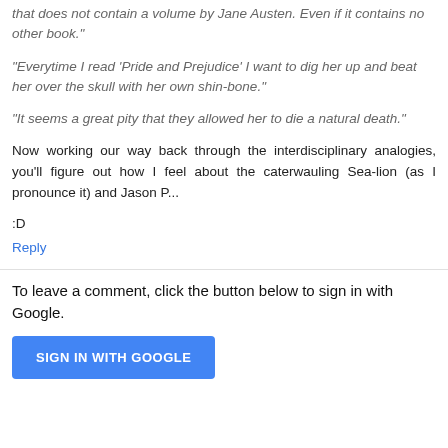that does not contain a volume by Jane Austen. Even if it contains no other book."
"Everytime I read 'Pride and Prejudice' I want to dig her up and beat her over the skull with her own shin-bone."
"It seems a great pity that they allowed her to die a natural death."
Now working our way back through the interdisciplinary analogies, you'll figure out how I feel about the caterwauling Sea-lion (as I pronounce it) and Jason P...
:D
Reply
To leave a comment, click the button below to sign in with Google.
[Figure (other): SIGN IN WITH GOOGLE button]